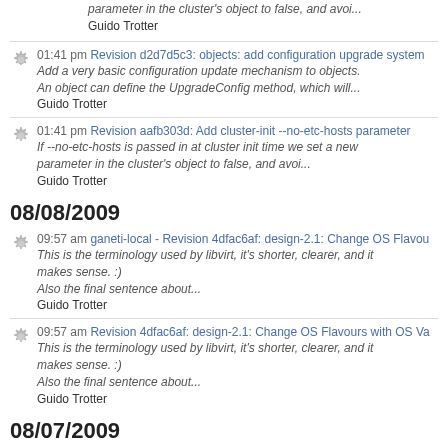parameter in the cluster's object to false, and avoi...
Guido Trotter
01:41 pm Revision d2d7d5c3: objects: add configuration upgrade system
Add a very basic configuration update mechanism to objects.
An object can define the UpgradeConfig method, which will...
Guido Trotter
01:41 pm Revision aafb303d: Add cluster-init --no-etc-hosts parameter
If --no-etc-hosts is passed in at cluster init time we set a new parameter in the cluster's object to false, and avoi...
Guido Trotter
08/08/2009
09:57 am ganeti-local - Revision 4dfac6af: design-2.1: Change OS Flavou...
This is the terminology used by libvirt, it's shorter, clearer, and it makes sense. :)
Also the final sentence about...
Guido Trotter
09:57 am Revision 4dfac6af: design-2.1: Change OS Flavours with OS Va...
This is the terminology used by libvirt, it's shorter, clearer, and it makes sense. :)
Also the final sentence about...
Guido Trotter
08/07/2009
02:32 pm ganeti-local - Revision 40765aa0: serializer.DumpSignedJson
Don't indent the final message.
Signed-off-by: Guido Trotter <ultrotter@google.com>
Reviewed-by: Michael Hanselmann ...
Guido Trotter